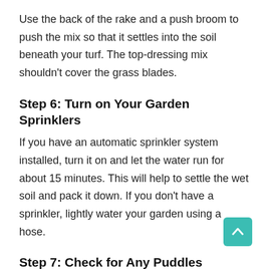Use the back of the rake and a push broom to push the mix so that it settles into the soil beneath your turf. The top-dressing mix shouldn't cover the grass blades.
Step 6: Turn on Your Garden Sprinklers
If you have an automatic sprinkler system installed, turn it on and let the water run for about 15 minutes. This will help to settle the wet soil and pack it down. If you don't have a sprinkler, lightly water your garden using a hose.
Step 7: Check for Any Puddles